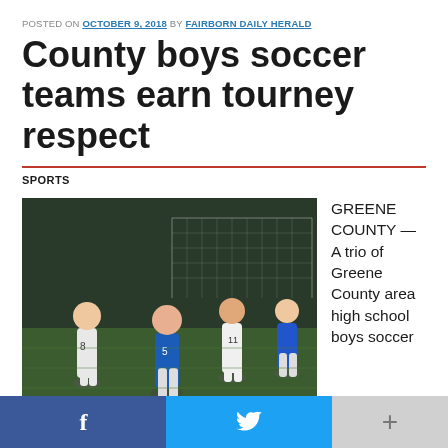POSTED ON OCTOBER 9, 2018 BY FAIRBORN DAILY HERALD
County boys soccer teams earn tourney respect
SPORTS
[Figure (photo): Boys soccer players in action on a field at night, players in white and blue uniforms competing near a goal net]
GREENE COUNTY — A trio of Greene County area high school boys soccer